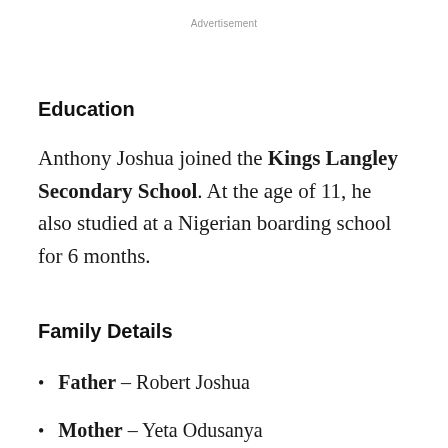Advertisement
Education
Anthony Joshua joined the Kings Langley Secondary School. At the age of 11, he also studied at a Nigerian boarding school for 6 months.
Family Details
Father – Robert Joshua
Mother – Yeta Odusanya